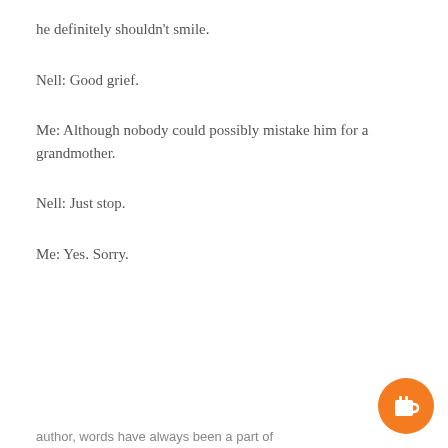he definitely shouldn't smile.
Nell: Good grief.
Me: Although nobody could possibly mistake him for a grandmother.
Nell: Just stop.
Me: Yes. Sorry.
Would you like to buy Sara a cup of Earl Grey tea?
author, words have always been a part of